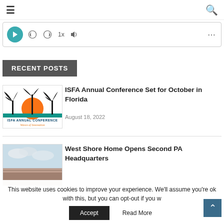≡  [search icon]
[Figure (screenshot): Audio player widget with teal play button, rewind/forward controls, 1x speed, and volume icon, with ellipsis menu]
RECENT POSTS
[Figure (logo): ISFA Annual Conference logo with palm trees and orange sunset, text 'ISFA ANNUAL CONFERENCE' and 'Waves of Innovation']
ISFA Annual Conference Set for October in Florida
August 18, 2022
[Figure (photo): West Shore Home building exterior photo with sky]
West Shore Home Opens Second PA Headquarters
This website uses cookies to improve your experience. We'll assume you're ok with this, but you can opt-out if you w
Accept   Read More